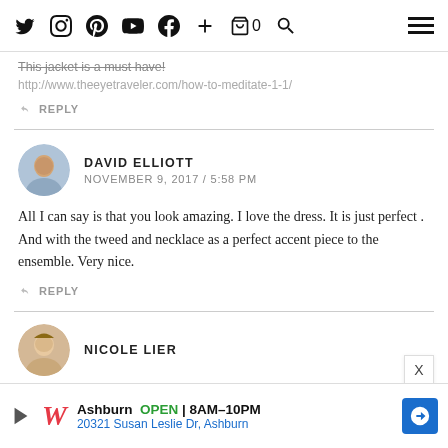Navigation bar with social icons: Twitter, Instagram, Pinterest, YouTube, Facebook, Plus, Cart (0), Search, Hamburger menu
This jacket is a must have!
http://www.theeyetraveler.com/how-to-meditate-1-1/
↩ REPLY
DAVID ELLIOTT
NOVEMBER 9, 2017 / 5:58 PM
All I can say is that you look amazing. I love the dress. It is just perfect . And with the tweed and necklace as a perfect accent piece to the ensemble. Very nice.
↩ REPLY
NICOLE LIER
Ashburn  OPEN  8AM–10PM
20321 Susan Leslie Dr, Ashburn